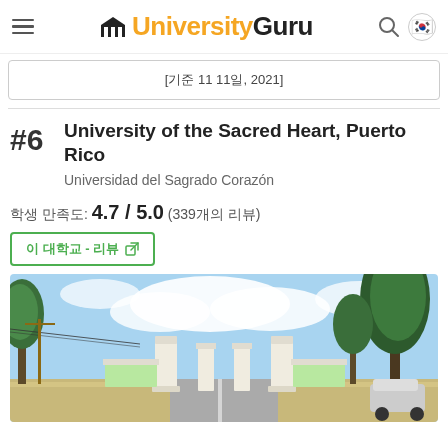UniversityGuru
[기준 11 11일, 2021]
#6 University of the Sacred Heart, Puerto Rico
Universidad del Sagrado Corazón
학생 만족도: 4.7 / 5.0 (339개의 리뷰)
이 대학교 - 리뷰
[Figure (photo): Campus entrance photo of University of the Sacred Heart, Puerto Rico showing white pillars and gate with trees and blue sky]